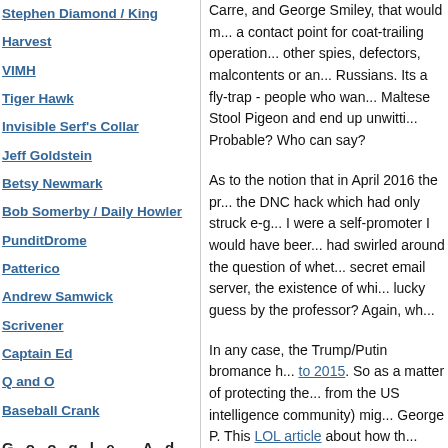Stephen Diamond / King Harvest
VIMH
Tiger Hawk
Invisible Serf's Collar
Jeff Goldstein
Betsy Newmark
Bob Somerby / Daily Howler
PunditDrome
Patterico
Andrew Samwick
Scrivener
Captain Ed
Q and O
Baseball Crank
Google Ad
Carre, and George Smiley, that would m... a contact point for coat-trailing operation... other spies, defectors, malcontents or an... Russians. Its a fly-trap - people who wan... Maltese Stool Pigeon and end up unwitti... Probable? Who can say?
As to the notion that in April 2016 the pr... the DNC hack which had only struck e-g... I were a self-promoter I would have beer... had swirled around the question of whet... secret email server, the existence of whi... lucky guess by the professor? Again, wh...
In any case, the Trump/Putin bromance h... to 2015. So as a matter of protecting the... from the US intelligence community) mig... George P. This LOL article about how th... earmarks of a Russian operation would n... substituted into it.
So sure, Prof. Misfud could have been pa... into the Trump campaign. OK, the Reds s... campaign in late March, but maybe he w... nobody with no connections to Team Tru...